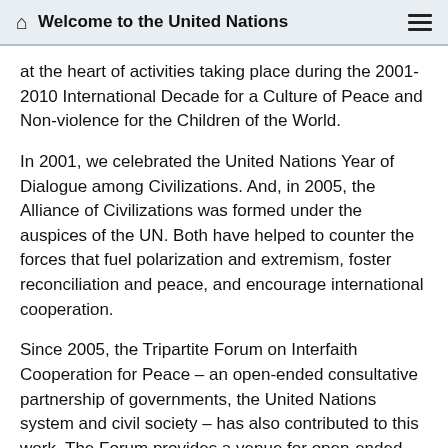Welcome to the United Nations
at the heart of activities taking place during the 2001-2010 International Decade for a Culture of Peace and Non-violence for the Children of the World.
In 2001, we celebrated the United Nations Year of Dialogue among Civilizations. And, in 2005, the Alliance of Civilizations was formed under the auspices of the UN. Both have helped to counter the forces that fuel polarization and extremism, foster reconciliation and peace, and encourage international cooperation.
Since 2005, the Tripartite Forum on Interfaith Cooperation for Peace – an open-ended consultative partnership of governments, the United Nations system and civil society – has also contributed to this work. The Forum provides a venue for open-ended deliberations on how interfaith dialogue and cooperation can help foster peaceful co-existence.
And co-exist we must. A recurring theme over the course of